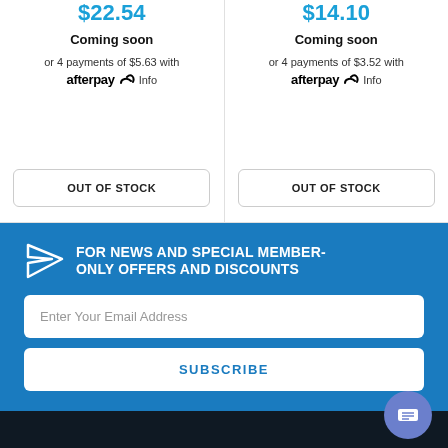$22.54
Coming soon
or 4 payments of $5.63 with afterpay Info
OUT OF STOCK
$14.10
Coming soon
or 4 payments of $3.52 with afterpay Info
OUT OF STOCK
FOR NEWS AND SPECIAL MEMBER-ONLY OFFERS AND DISCOUNTS
Enter Your Email Address
SUBSCRIBE